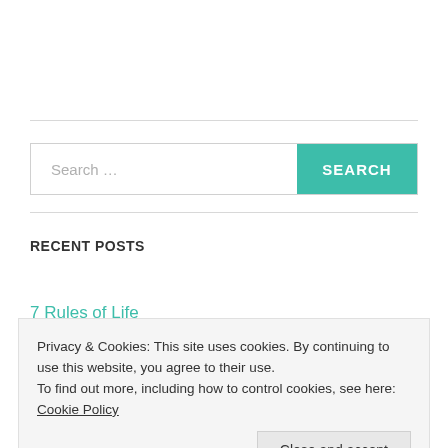[Figure (screenshot): Search bar with teal SEARCH button]
RECENT POSTS
7 Rules of Life
Privacy & Cookies: This site uses cookies. By continuing to use this website, you agree to their use.
To find out more, including how to control cookies, see here: Cookie Policy
Close and accept